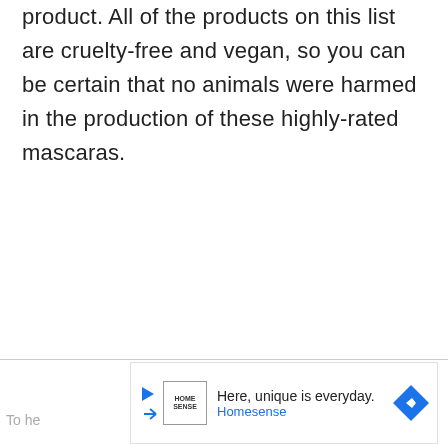product. All of the products on this list are cruelty-free and vegan, so you can be certain that no animals were harmed in the production of these highly-rated mascaras.
To he... | Here, unique is everyday. Homesense